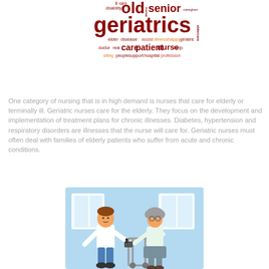[Figure (infographic): Word cloud related to geriatrics and nursing with words like geriatrics, senior, old, care, nurse, patient, disease, elder, disability, caregiver, help, support, hospital, profession, etc.]
One category of nursing that is in high demand is nurses that care for elderly or terminally ill. Geriatric nurses care for the elderly. They focus on the development and implementation of treatment plans for chronic illnesses. Diabetes, hypertension and respiratory disorders are illnesses that the nurse will care for. Geriatric nurses must often deal with families of elderly patients who suffer from acute and chronic conditions.
[Figure (illustration): Cartoon illustration of a nurse (young man in white uniform) assisting an elderly woman with a walker, light blue background with windows.]